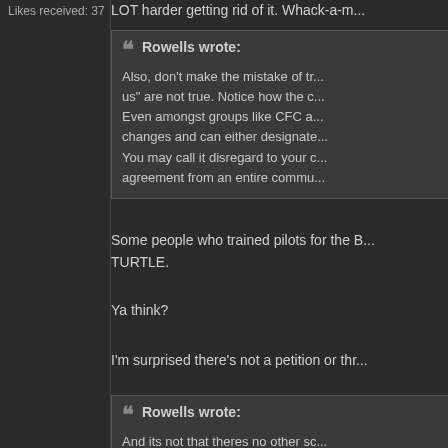Likes received: 37
LOT harder getting rid of it. Whack-a-m...
Rowells wrote:
Also, don't make the mistake of tr... us" are not true. Notice how the c... Even amongst groups like CFC a... changes and can either designate... You may call it disregard to your c... agreement from an entire commu...
Some people who trained pilots for the B... TURTLE.
Ya think?
I'm surprised there's not a petition or thr...
Rowells wrote:
And its not that theres no other sc... and problems across various spe...